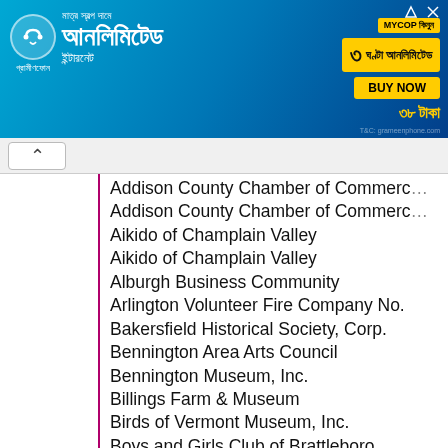[Figure (other): Advertisement banner for a telecom company offering unlimited internet, featuring Bengali text, a person, and a yellow BUY NOW button]
Addison County Chamber of Commerce
Addison County Chamber of Commerce
Aikido of Champlain Valley
Aikido of Champlain Valley
Alburgh Business Community
Arlington Volunteer Fire Company No.
Bakersfield Historical Society, Corp.
Bennington Area Arts Council
Bennington Museum, Inc.
Billings Farm & Museum
Birds of Vermont Museum, Inc.
Boys and Girls Club of Brattleboro
Burlington Parks, Recreation & Waterf
Cabot Historical Society
Central Vermont Humane Society
Chaffee Art Center
Chaffee Art Center
Chandler Center for the Arts
Chandler Center for the Arts
Chester Rotary
Cochran's Ski Area